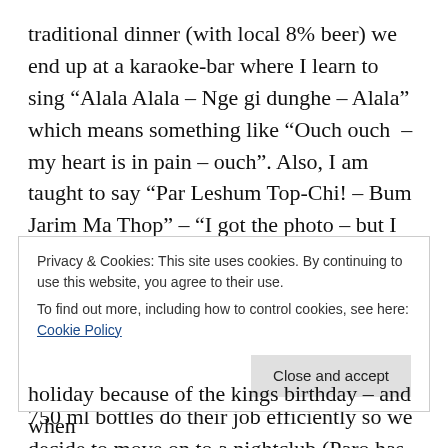traditional dinner (with local 8% beer) we end up at a karaoke-bar where I learn to sing “Alala Alala – Nge gi dunghe – Alala” which means something like “Ouch ouch – my heart is in pain – ouch”. Also, I am taught to say “Par Leshum Top-Chi! – Bum Jarim Ma Thop” – “I got the photo – but I did not get any beautiful girl”. A very useful phrase it turns out. I say it just before portraying the locals with my big Nikon. Almost without exception this brings a smile on their faces. Again the beers come 750 ml bottles do their job efficiently so we decide to move on to a nightclub (Paro has 60,000 inhabitants
Privacy & Cookies: This site uses cookies. By continuing to use this website, you agree to their use.
To find out more, including how to control cookies, see here: Cookie Policy
holiday because of the kings birthday – and when